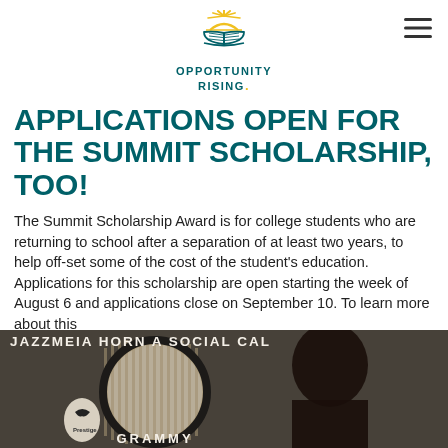[Figure (logo): Opportunity Rising logo with sun above open book, teal and gold colors, text reads OPPORTUNITY RISING]
APPLICATIONS OPEN FOR THE SUMMIT SCHOLARSHIP, TOO!
The Summit Scholarship Award is for college students who are returning to school after a separation of at least two years, to help off-set some of the cost of the student’s education. Applications for this scholarship are open starting the week of August 6 and applications close on September 10. To learn more about this
[Figure (photo): Album cover of Jazzmeia Horn A Social Call on Prestige Records, showing a woman in the foreground with Grammy text visible at bottom]